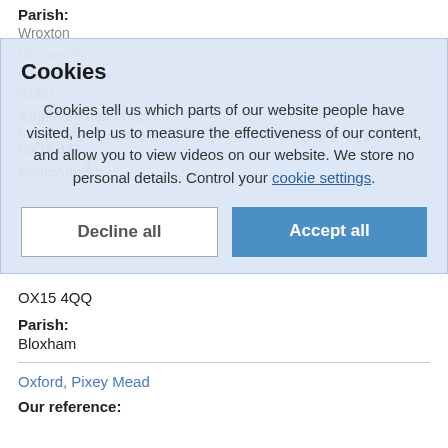Parish:
Wroxton
Bloxham Fo... [link] ... 2014
Our reference:
03361
Applicant name(s):
Mrs V Moyses, 33 Greenhills Park, Bloxham, Nr Banbury, Oxon, OX15 4AT
Postcode(s):
[Figure (screenshot): Cookie consent overlay with title 'Cookies', descriptive text about cookie usage, 'Decline all' and 'Accept all' buttons on a light blue background]
OX15 4QQ
Parish:
Bloxham
Oxford, Pixey Mead
Our reference: